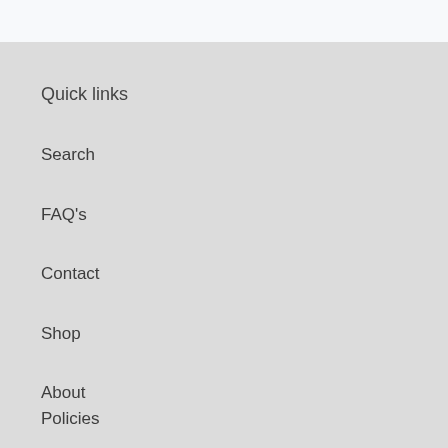Quick links
Search
FAQ's
Contact
Shop
About
Policies